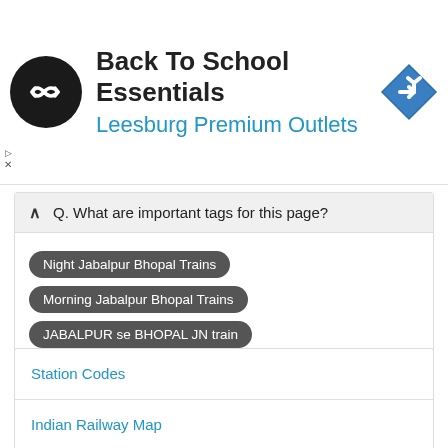[Figure (infographic): Advertisement banner for Back To School Essentials at Leesburg Premium Outlets, with a circular black logo with a double-ended arrow symbol, advertisement text, and a blue navigation/direction diamond icon on the right.]
Q. What are important tags for this page?
Night Jabalpur Bhopal Trains
Morning Jabalpur Bhopal Trains
JABALPUR se BHOPAL JN train
Station Codes
Indian Railway Map
Train Coach Position